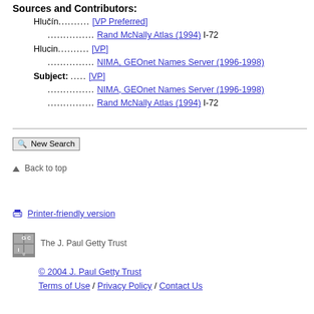Sources and Contributors:
Hlučín.......... [VP Preferred]
.............. Rand McNally Atlas (1994) I-72
Hlucin.......... [VP]
.............. NIMA, GEOnet Names Server (1996-1998)
Subject: ..... [VP]
.............. NIMA, GEOnet Names Server (1996-1998)
.............. Rand McNally Atlas (1994) I-72
New Search
▲ Back to top
Printer-friendly version
[Figure (logo): J. Paul Getty Trust logo (GCI monogram style)]
The J. Paul Getty Trust
© 2004 J. Paul Getty Trust
Terms of Use / Privacy Policy / Contact Us